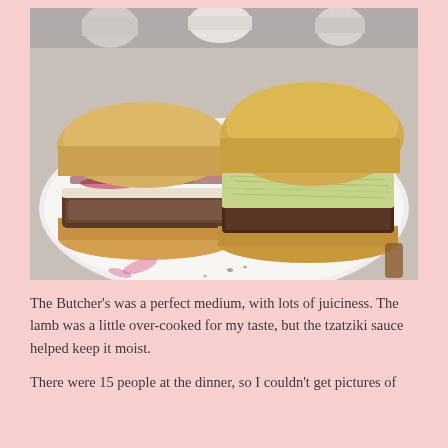[Figure (photo): A burger cut in half showing two halves on a white plate. The left half shows the inside with a beef patty, bacon, red onion, and sauce. The right half shows the burger with shredded lettuce and a beef patty. Background shows cups or condiment holders.]
The Butcher's was a perfect medium, with lots of juiciness. The lamb was a little over-cooked for my taste, but the tzatziki sauce helped keep it moist.
There were 15 people at the dinner, so I couldn't get pictures of